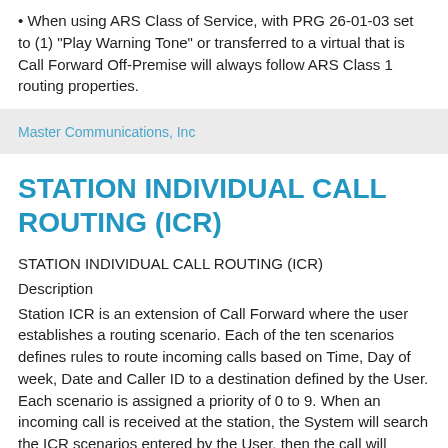When using ARS Class of Service, with PRG 26-01-03 set to (1) "Play Warning Tone" or transferred to a virtual that is Call Forward Off-Premise will always follow ARS Class 1 routing properties.
Master Communications, Inc
STATION INDIVIDUAL CALL ROUTING (ICR)
STATION INDIVIDUAL CALL ROUTING (ICR)
Description
Station ICR is an extension of Call Forward where the user establishes a routing scenario. Each of the ten scenarios defines rules to route incoming calls based on Time, Day of week, Date and Caller ID to a destination defined by the User. Each scenario is assigned a priority of 0 to 9. When an incoming call is received at the station, the System will search the ICR scenarios entered by the User, then the call will...